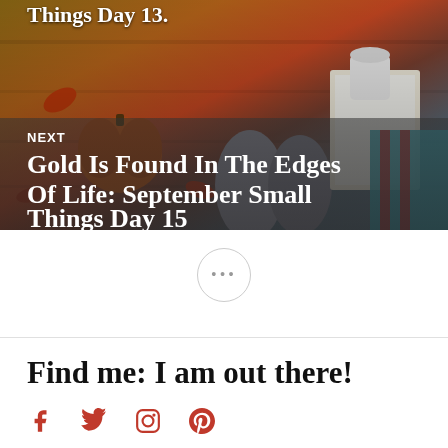[Figure (photo): Navigation block showing two blog post links overlaid on autumn-themed photo with pumpkin, leaves, socks, book and coffee mug on wooden background. Top shows partial previous post title 'Things Day 13.' and bottom shows next post labeled 'NEXT' with title 'Gold Is Found In The Edges Of Life: September Small Things Day 15']
•••
Find me: I am out there!
[Figure (infographic): Four social media icons in red: Facebook, Twitter, Instagram, Pinterest]